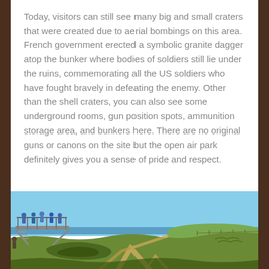Today, visitors can still see many big and small craters that were created due to aerial bombings on this area. French government erected a symbolic granite dagger atop the bunker where bodies of soldiers still lie under the ruins, commemorating all the US soldiers who have fought bravely in defeating the enemy. Other than the shell craters, you can also see some underground rooms, gun position spots, ammunition storage area, and bunkers here. There are no original guns or canons on the site but the open air park definitely gives you a sense of pride and respect.
[Figure (photo): Outdoor photo of a WWII battle site showing grassy crater terrain with sandy paths carved into green hills, a blue sky horizon over the sea, and visitors on a metal observation platform/walkway at the left.]